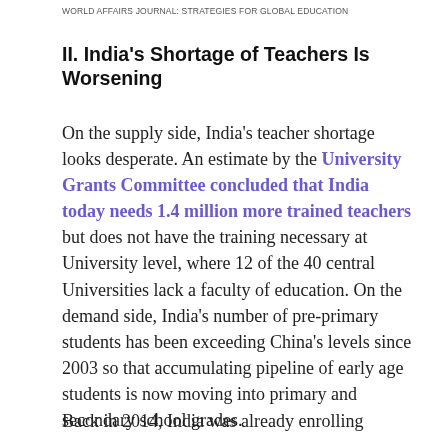WORLD AFFAIRS JOURNAL: STRATEGIES FOR GLOBAL EDUCATION
II. India's Shortage of Teachers Is Worsening
On the supply side, India's teacher shortage looks desperate. An estimate by the University Grants Committee concluded that India today needs 1.4 million more trained teachers but does not have the training necessary at University level, where 12 of the 40 central Universities lack a faculty of education. On the demand side, India's number of pre-primary students has been exceeding China's levels since 2003 so that accumulating pipeline of early age students is now moving into primary and secondary school grades.
Back in 2014, India was already enrolling